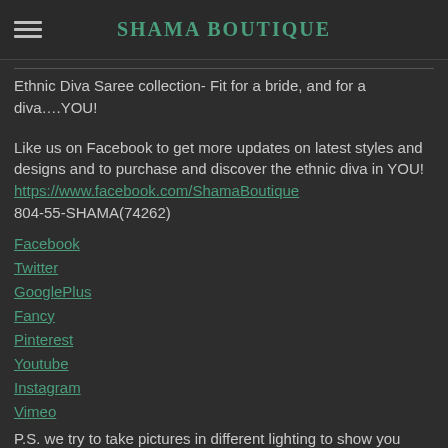SHAMA BOUTIQUE
Ethnic Diva Saree collection- Fit for a bride, and for a diva….YOU!
Like us on Facebook to get more updates on latest styles and designs and to purchase and discover the ethnic diva in YOU!
https://www.facebook.com/ShamaBoutique
804-55-SHAMA(74262)
Facebook
Twitter
GooglePlus
Fancy
Pinterest
Youtube
Instagram
Vimeo
P.S. we try to take pictures in different lighting to show you